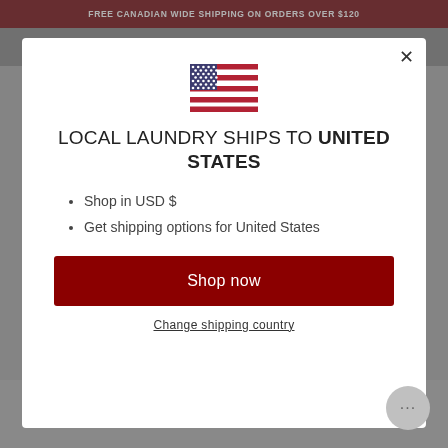FREE CANADIAN WIDE SHIPPING ON ORDERS OVER $120
[Figure (screenshot): Modal dialog on a retail website showing US flag, heading 'LOCAL LAUNDRY SHIPS TO UNITED STATES', bullet points, and a Shop now button]
LOCAL LAUNDRY SHIPS TO UNITED STATES
Shop in USD $
Get shipping options for United States
Shop now
Change shipping country